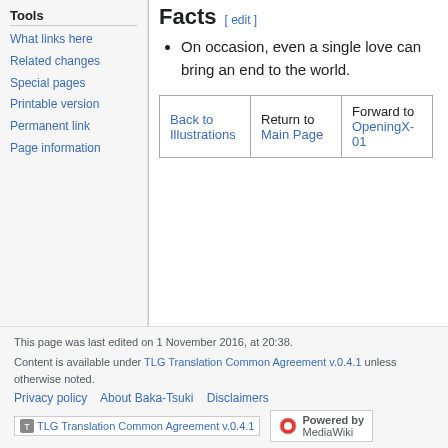Tools
What links here
Related changes
Special pages
Printable version
Permanent link
Page information
Facts
On occasion, even a single love can bring an end to the world.
|  |  |  |
| --- | --- | --- |
| Back to Illustrations | Return to Main Page | Forward to OpeningX-01 |
This page was last edited on 1 November 2016, at 20:38.
Content is available under TLG Translation Common Agreement v.0.4.1 unless otherwise noted.
Privacy policy · About Baka-Tsuki · Disclaimers
[Figure (logo): TLG Translation Common Agreement v.0.4.1 badge]
[Figure (logo): Powered by MediaWiki badge]